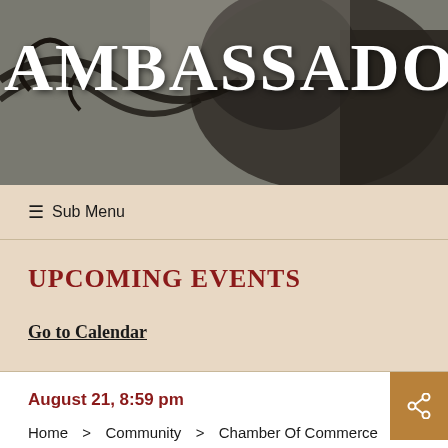[Figure (photo): Hero image showing a bronze statue/sculpture with iron bench elements in the background, overlaid with large white bold text 'AMBASSADORS']
AMBASSADORS
☰ Sub Menu
UPCOMING EVENTS
Go to Calendar
August 21, 8:59 pm
Home > Community > Chamber Of Commerce >